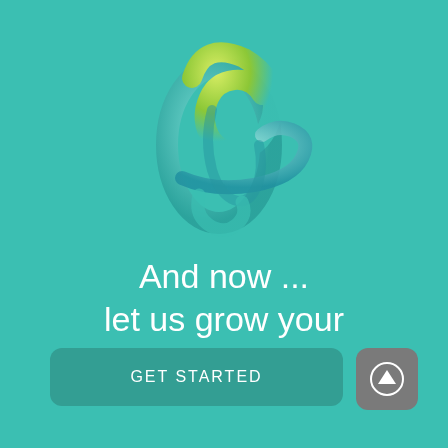[Figure (logo): 3D abstract ribbon/loop logo in teal and yellow-green colors, resembling the letter Q or a twisted ribbon shape]
And now ... let us grow your practice
[Figure (other): Dark teal rounded rectangle button with text GET STARTED in white capital letters with letter spacing]
[Figure (other): Gray rounded square button with white upward arrow icon]